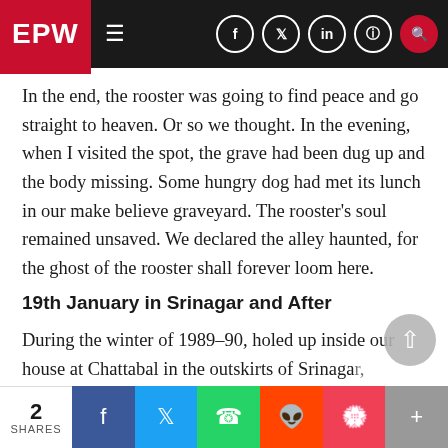EPW
In the end, the rooster was going to find peace and go straight to heaven. Or so we thought. In the evening, when I visited the spot, the grave had been dug up and the body missing. Some hungry dog had met its lunch in our make believe graveyard. The rooster's soul remained unsaved. We declared the alley haunted, for the ghost of the rooster shall forever loom here.
19th January in Srinagar and After
During the winter of 1989–90, holed up inside our house at Chattabal in the outskirts of Srinagar, that was what I was doing, playing, while Kashmir
2 SHARES  f  Twitter  WhatsApp  Reddit  Pocket  +